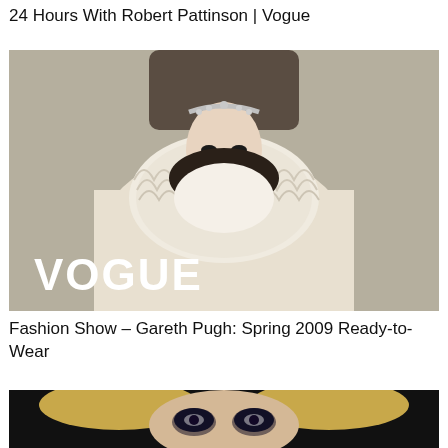24 Hours With Robert Pattinson | Vogue
[Figure (photo): A fashion model wearing a white structured garment with a large ruffled Elizabethan-style collar and a silver headpiece. The VOGUE logo appears in white text at the bottom left of the image.]
Fashion Show – Gareth Pugh: Spring 2009 Ready-to-Wear
[Figure (photo): Close-up of a model's face with dramatic dark eye makeup and blonde braided hair, against a dark background.]